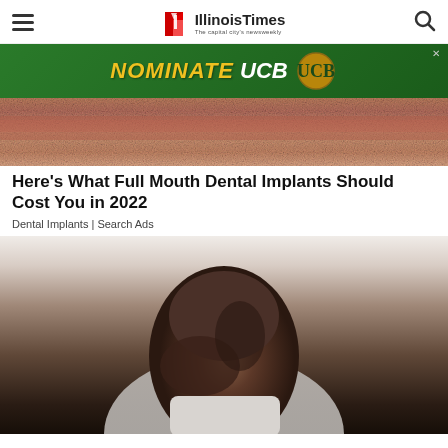Illinois Times — The capital city's newsweekly
[Figure (photo): Advertisement banner: green background with yellow italic text 'NOMINATE UCB' and UCB logo]
[Figure (photo): Close-up photo of inflamed or irritated skin, reddish-pink texture]
Here's What Full Mouth Dental Implants Should Cost You in 2022
Dental Implants | Search Ads
[Figure (photo): Photo of a Black man in a white t-shirt, head bowed down, appearing to be in pain or discomfort, possibly holding his jaw]